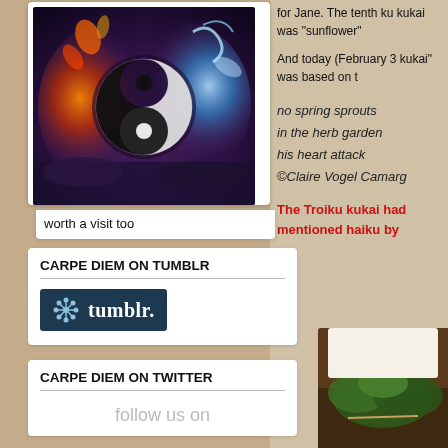[Figure (photo): Yin-yang symbol made of fire and water/ice, dramatic fantasy art]
worth a visit too
CARPE DIEM ON TUMBLR
[Figure (logo): Tumblr logo - dark blue background with snowflake icon and tumblr. text in white]
CARPE DIEM ON TWITTER
follow us on
for Jane. The tenth ku kukai was "sunflower"
And today (February 3 kukai" was based on t
no spring sprouts
in the herb garden
his heart attack
©Claire Vogel Camarg
The Troiku kukai had mentioned haiku by